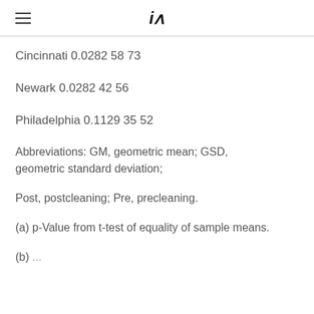iA
Cincinnati 0.0282 58 73
Newark 0.0282 42 56
Philadelphia 0.1129 35 52
Abbreviations: GM, geometric mean; GSD, geometric standard deviation;
Post, postcleaning; Pre, precleaning.
(a) p-Value from t-test of equality of sample means.
(b) ...